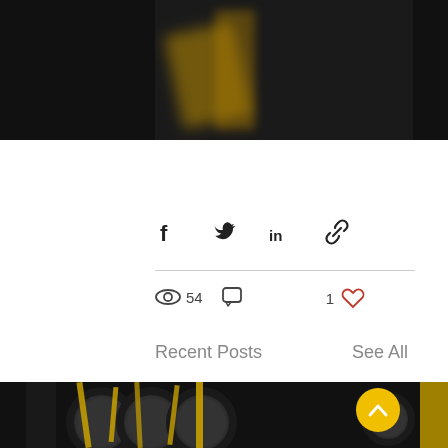[Figure (photo): Partial image of machinery with yellow/gold metal frame on dark background, cropped at top of page]
Share via Facebook, Twitter, LinkedIn, and link icons
54 views, comment icon, 1 like
Recent Posts
See All
[Figure (photo): Two partial images and one center image of black tires with yellow/gold mechanical frame structure on dark background]